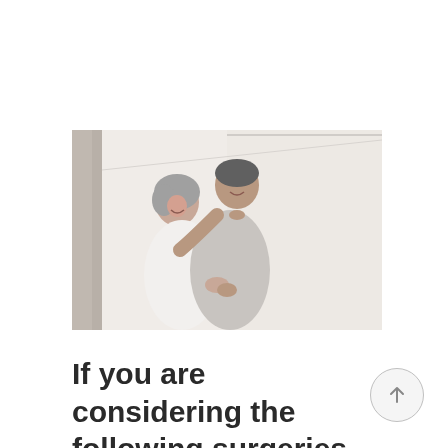[Figure (photo): An elderly couple smiling and hugging, appearing happy indoors. The woman has gray hair and white top, the man is taller in a light gray shirt. Bright interior background.]
If you are considering the following surgeries or